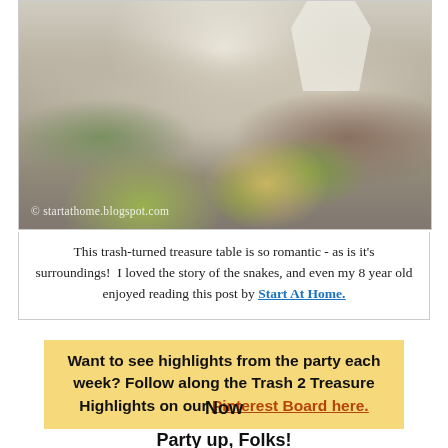[Figure (photo): Outdoor garden photo showing stone path/patio with gravel, stones edging, weeds and yellow wildflowers growing between stones, white chairs visible at top. Watermark reads '© startathome.blogspot.com']
This trash-turned treasure table is so romantic - as is it's surroundings!  I loved the story of the snakes, and even my 8 year old enjoyed reading this post by Start At Home.
Want to see highlights from the party each week? Follow along the Trash 2 Treasure Highlights on our Pinterest Board here.
Now
Party up, Folks!